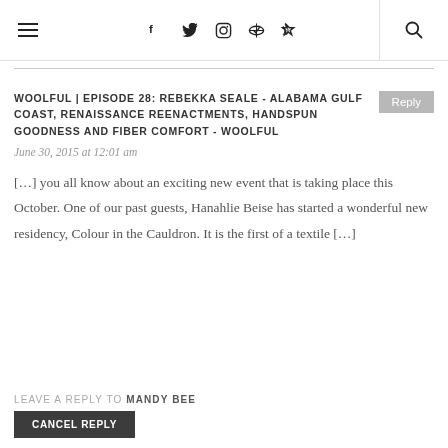☰  f  ✦  ◧  ⊕  )) | 🔍
WOOLFUL | EPISODE 28: REBEKKA SEALE - ALABAMA GULF COAST, RENAISSANCE REENACTMENTS, HANDSPUN GOODNESS AND FIBER COMFORT - WOOLFUL
June 30, 2015 at 12:01 am
[…] you all know about an exciting new event that is taking place this October. One of our past guests, Hanahlie Beise has started a wonderful new residency, Colour in the Cauldron. It is the first of a textile […]
LEAVE A REPLY TO MANDY BEE
CANCEL REPLY